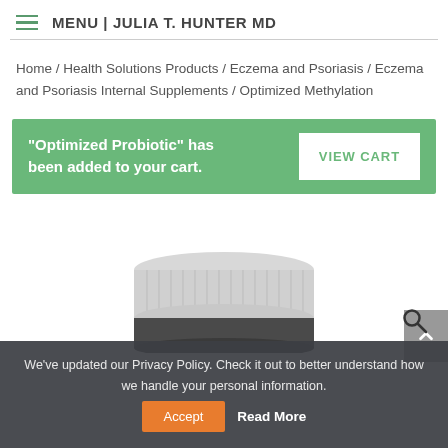MENU | JULIA T. HUNTER MD
Home / Health Solutions Products / Eczema and Psoriasis / Eczema and Psoriasis Internal Supplements / Optimized Methylation
“Optimized Probiotic” has been added to your cart.
[Figure (photo): Product supplement jar with white ribbed lid, partially visible]
We’ve updated our Privacy Policy. Check it out to better understand how we handle your personal information.